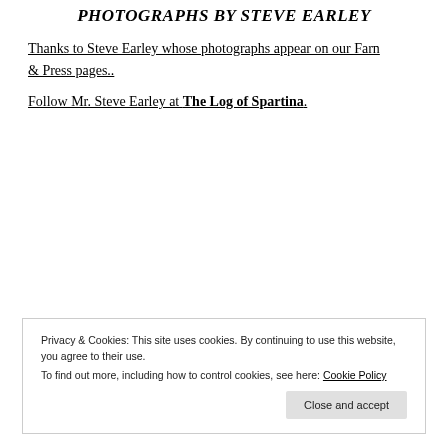PHOTOGRAPHS BY STEVE EARLEY
Thanks to Steve Earley whose photographs appear on our Farn & Press pages..
Follow Mr. Steve Earley at The Log of Spartina.
Privacy & Cookies: This site uses cookies. By continuing to use this website, you agree to their use.
To find out more, including how to control cookies, see here: Cookie Policy
Close and accept